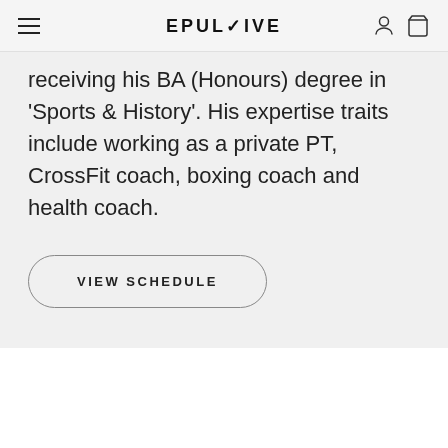EPULSIVE
receiving his BA (Honours) degree in 'Sports & History'. His expertise traits include working as a private PT, CrossFit coach, boxing coach and health coach.
VIEW SCHEDULE